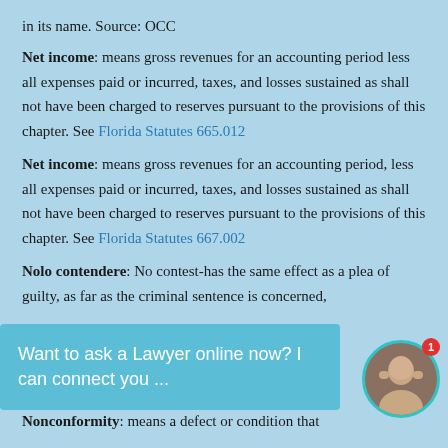in its name. Source: OCC
Net income: means gross revenues for an accounting period less all expenses paid or incurred, taxes, and losses sustained as shall not have been charged to reserves pursuant to the provisions of this chapter. See Florida Statutes 665.012
Net income: means gross revenues for an accounting period, less all expenses paid or incurred, taxes, and losses sustained as shall not have been charged to reserves pursuant to the provisions of this chapter. See Florida Statutes 667.002
Nolo contendere: No contest-has the same effect as a plea of guilty, as far as the criminal sentence is concerned,
Want to ask a Lawyer online now? I can connect you ...
Nonconformity: means a defect or condition that